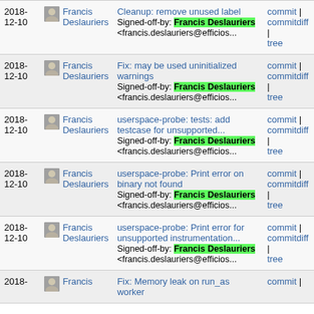| Date | Author | Commit message | Actions |
| --- | --- | --- | --- |
| 2018-12-10 | Francis Deslauriers | Cleanup: remove unused label
Signed-off-by: Francis Deslauriers <francis.deslauriers@efficios... | commit | commitdiff | tree |
| 2018-12-10 | Francis Deslauriers | Fix: may be used uninitialized warnings
Signed-off-by: Francis Deslauriers <francis.deslauriers@efficios... | commit | commitdiff | tree |
| 2018-12-10 | Francis Deslauriers | userspace-probe: tests: add testcase for unsupported...
Signed-off-by: Francis Deslauriers <francis.deslauriers@efficios... | commit | commitdiff | tree |
| 2018-12-10 | Francis Deslauriers | userspace-probe: Print error on binary not found
Signed-off-by: Francis Deslauriers <francis.deslauriers@efficios... | commit | commitdiff | tree |
| 2018-12-10 | Francis Deslauriers | userspace-probe: Print error for unsupported instrumentation...
Signed-off-by: Francis Deslauriers <francis.deslauriers@efficios... | commit | commitdiff | tree |
| 2018- | Francis | Fix: Memory leak on run_as worker | commit | |